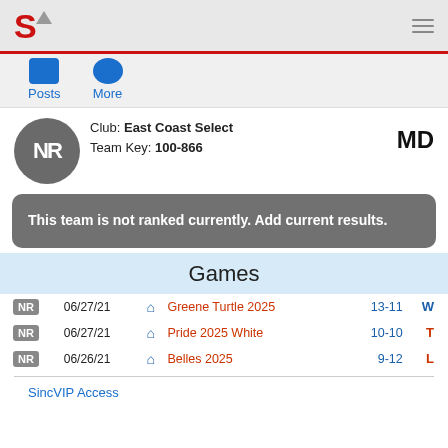S [logo] hamburger menu
Posts   More
Club: East Coast Select   Team Key: 100-866   MD
This team is not ranked currently. Add current results.
Games
| Rank | Date |  | Team | Score | Result |
| --- | --- | --- | --- | --- | --- |
| NR | 06/27/21 | 🏠 | Greene Turtle 2025 | 13-11 | W |
| NR | 06/27/21 | 🏠 | Pride 2025 White | 10-10 | T |
| NR | 06/26/21 | 🏠 | Belles 2025 | 9-12 | L |
SincVIP Access